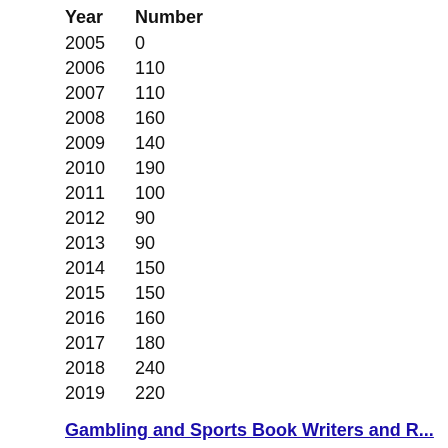| Year | Number |
| --- | --- |
| 2005 | 0 |
| 2006 | 110 |
| 2007 | 110 |
| 2008 | 160 |
| 2009 | 140 |
| 2010 | 190 |
| 2011 | 100 |
| 2012 | 90 |
| 2013 | 90 |
| 2014 | 150 |
| 2015 | 150 |
| 2016 | 160 |
| 2017 | 180 |
| 2018 | 240 |
| 2019 | 220 |
Gambling and Sports Book Writers and Runners